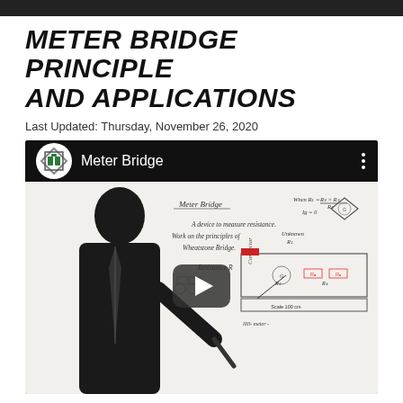METER BRIDGE PRINCIPLE AND APPLICATIONS
Last Updated: Thursday, November 26, 2020
[Figure (screenshot): YouTube video thumbnail showing a professor teaching at a whiteboard. The whiteboard contains notes about Meter Bridge including text: 'Meter Bridge', 'A device to measure resistance', 'Work on the principles of Wheatstone Bridge', 'Resistance R', 'Conductor'. There is a diagram showing circuit components with R2, R4, Scale 100 cm labels. The video title shown in the YouTube player bar reads 'Meter Bridge'. A play button is overlaid at center.]